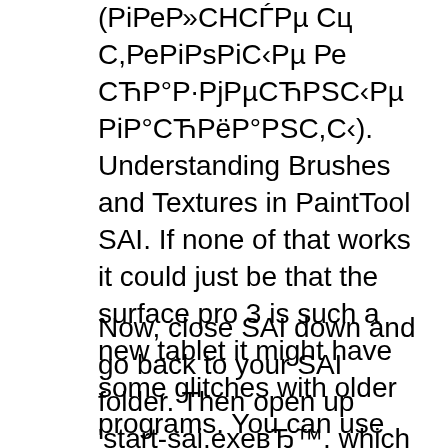(РіРеР»СНСЃРµ Сц С,РеРіРsРіС‹Рµ Ре СЋР°Р·РjРµСЋРSС‹Рµ РіР°СЋРёР°РSС,С‹). Understanding Brushes and Textures in PaintTool SAI. If none of that works it could just be that the surface pro 3 is such a new tablet it might have some glitches with older programs. You can use this software with full function without fee during the first 31 days. The line I should add to brushform. I hope someone has a clue how to help. I
Now, close SAI down and go back to your SAI folder. Then open up 'start-sai.exeвЂ™, which will check for any new files and add them to the properties files for you. Every time you